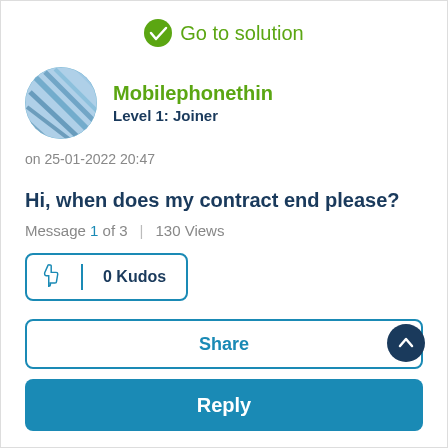Go to solution
Mobilephonethin
Level 1: Joiner
on 25-01-2022 20:47
Hi, when does my contract end please?
Message 1 of 3  |  130 Views
0 Kudos
Share
Reply